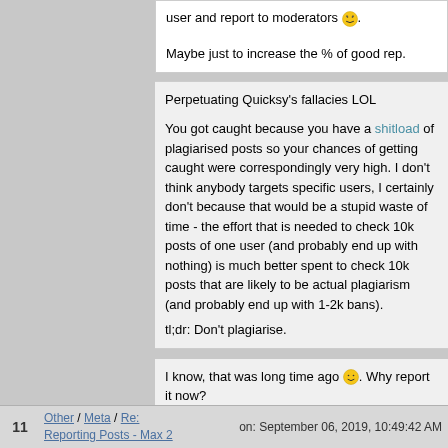user and report to moderators 😎. Maybe just to increase the % of good rep.
Perpetuating Quicksy's fallacies LOL

You got caught because you have a shitload of plagiarised posts so your chances of getting caught were correspondingly very high. I don't think anybody targets specific users, I certainly don't because that would be a stupid waste of time - the effort that is needed to check 10k posts of one user (and probably end up with nothing) is much better spent to check 10k posts that are likely to be actual plagiarism (and probably end up with 1-2k bans).

tl;dr: Don't plagiarise.
I know, that was long time ago 🙂. Why report it now?
No big deal because I don't care about signature, just trying to understand the reason).

What do you mean with "Perpetuating Quicksy's fallacies LOL"?

I agree with you when you say "don't plagiarise".
11   Other / Meta / Re: Reporting Posts - Max 2   on: September 06, 2019, 10:49:42 AM